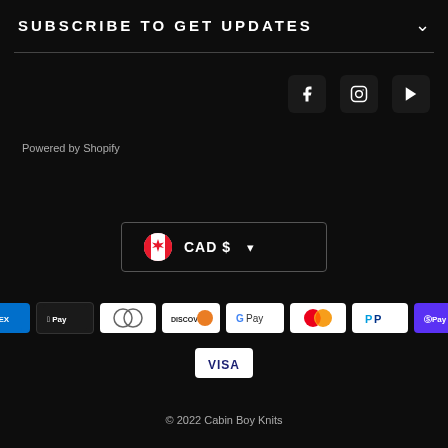SUBSCRIBE TO GET UPDATES
[Figure (infographic): Social media icons: Facebook, Instagram, YouTube]
Powered by Shopify
CAD $
[Figure (infographic): Payment method icons: AMEX, Apple Pay, Diners Club, Discover, Google Pay, Mastercard, PayPal, Shop Pay, Visa]
© 2022 Cabin Boy Knits